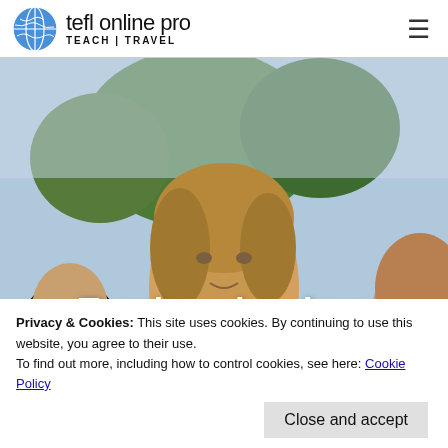tefl online pro TEACH | TRAVEL
[Figure (photo): Group of students outdoors with trees in background, centered young person with light brown hair looking up at camera]
Teach and make a difference
Privacy & Cookies: This site uses cookies. By continuing to use this website, you agree to their use.
To find out more, including how to control cookies, see here: Cookie Policy
Close and accept